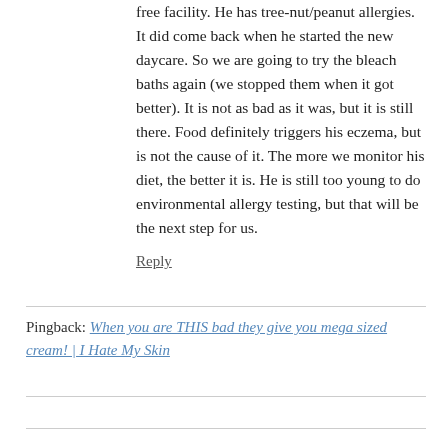free facility. He has tree-nut/peanut allergies. It did come back when he started the new daycare. So we are going to try the bleach baths again (we stopped them when it got better). It is not as bad as it was, but it is still there. Food definitely triggers his eczema, but is not the cause of it. The more we monitor his diet, the better it is. He is still too young to do environmental allergy testing, but that will be the next step for us.
Reply
Pingback: When you are THIS bad they give you mega sized cream! | I Hate My Skin